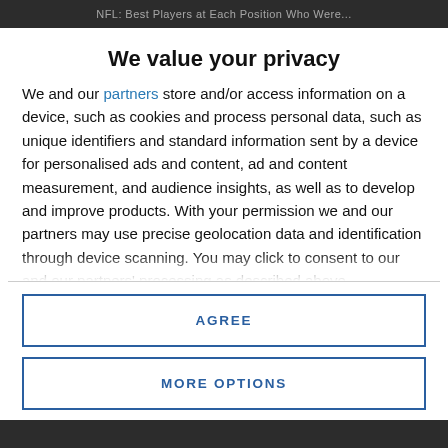NFL: Best Players at Each Position Who Were...
We value your privacy
We and our partners store and/or access information on a device, such as cookies and process personal data, such as unique identifiers and standard information sent by a device for personalised ads and content, ad and content measurement, and audience insights, as well as to develop and improve products. With your permission we and our partners may use precise geolocation data and identification through device scanning. You may click to consent to our and our partners' processing as described above. Alternatively you may access more detailed information and change your preferences before consenting or to refuse consenting. Please note that some processing of your personal data may not require your consent, but you have a right to
AGREE
MORE OPTIONS